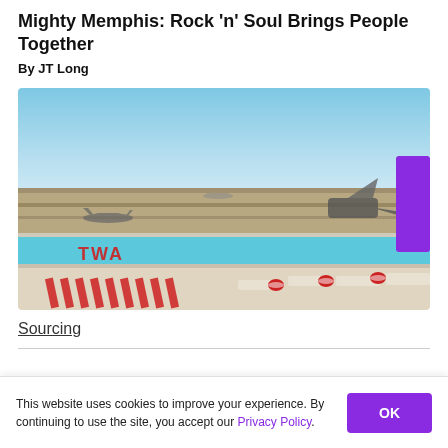Mighty Memphis: Rock 'n' Soul Brings People Together
By JT Long
[Figure (photo): Rooftop pool area with TWA branding and lounge chairs overlooking an airport tarmac with planes visible in the background under a blue sky.]
Sourcing
This website uses cookies to improve your experience. By continuing to use the site, you accept our Privacy Policy.